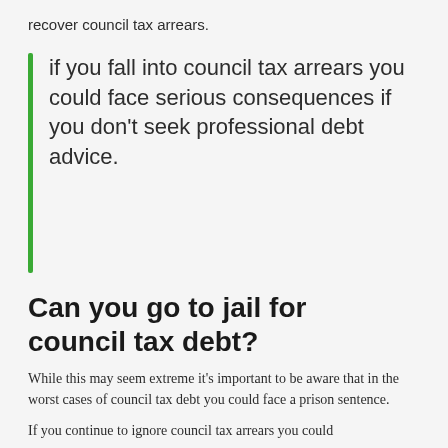recover council tax arrears.
if you fall into council tax arrears you could face serious consequences if you don't seek professional debt advice.
Can you go to jail for council tax debt?
While this may seem extreme it's important to be aware that in the worst cases of council tax debt you could face a prison sentence.
If you continue to ignore council tax arrears you could